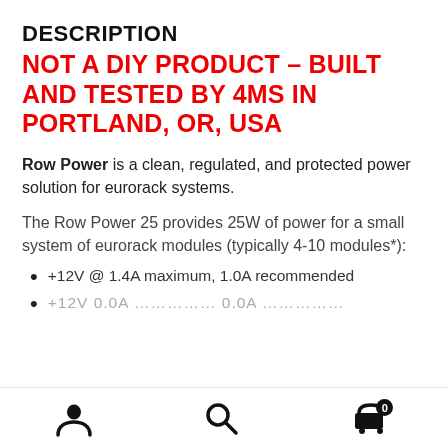DESCRIPTION
NOT A DIY PRODUCT – BUILT AND TESTED BY 4MS IN PORTLAND, OR, USA
Row Power is a clean, regulated, and protected power solution for eurorack systems.
The Row Power 25 provides 25W of power for a small system of eurorack modules (typically 4-10 modules*):
+12V @ 1.4A maximum, 1.0A recommended
Navigation icons: user, search, cart (0)